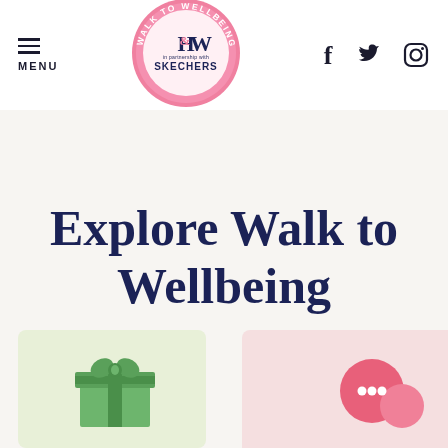[Figure (logo): Walk to Wellbeing logo - pink circle with H&W text and Skechers partnership text inside, center of header]
MENU | Walk to Wellbeing logo | Facebook | Twitter | Instagram
Explore Walk to Wellbeing
[Figure (illustration): Two partial card tiles at the bottom: left card has green background with gift box icon, right card has pink background with chat bubble icons]